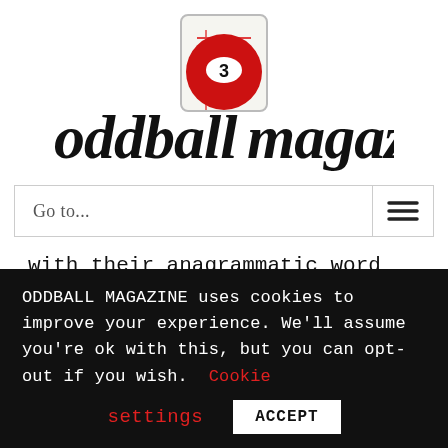[Figure (logo): Oddball Magazine logo with red billiard ball number 3 and text 'oddball magazine' in bold serif font]
Go to...
with their anagrammatic word play. In PostModernism, Vivian Darkbloom appears in Vladimir Nabokov's Lolita, while Mr. Mojo Risin'—Jim Morrison—
ODDBALL MAGAZINE uses cookies to improve your experience. We'll assume you're ok with this, but you can opt-out if you wish. Cookie settings ACCEPT